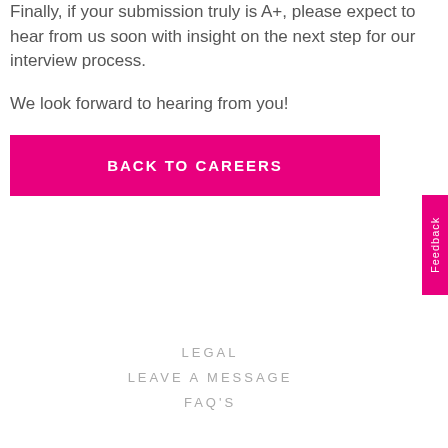Finally, if your submission truly is A+, please expect to hear from us soon with insight on the next step for our interview process.
We look forward to hearing from you!
BACK TO CAREERS
Feedback
LEGAL
LEAVE A MESSAGE
FAQ's